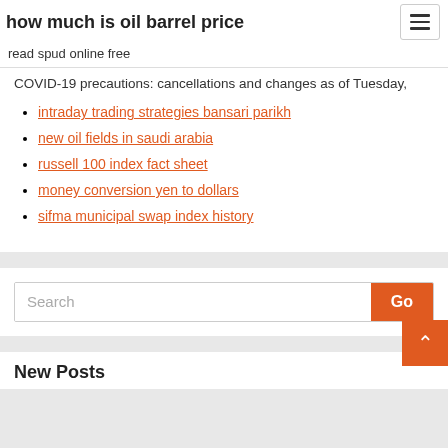how much is oil barrel price
read spud online free
COVID-19 precautions: cancellations and changes as of Tuesday,
intraday trading strategies bansari parikh
new oil fields in saudi arabia
russell 100 index fact sheet
money conversion yen to dollars
sifma municipal swap index history
New Posts